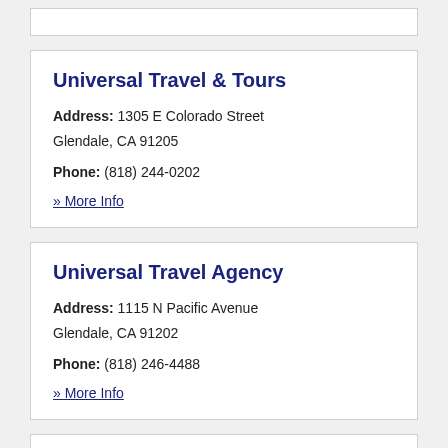Universal Travel & Tours
Address: 1305 E Colorado Street Glendale, CA 91205
Phone: (818) 244-0202
» More Info
Universal Travel Agency
Address: 1115 N Pacific Avenue Glendale, CA 91202
Phone: (818) 246-4488
» More Info